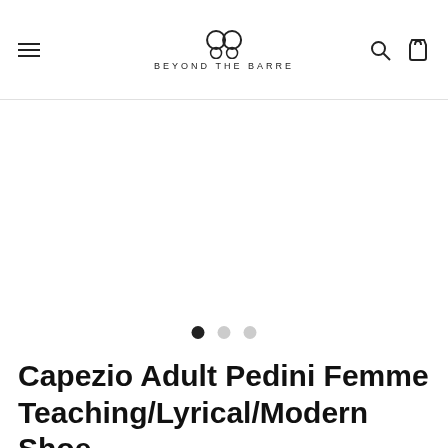Beyond The Barre — navigation header with hamburger menu, logo, search and cart icons
[Figure (other): Product image area (white/blank carousel) with three carousel indicator dots]
Capezio Adult Pedini Femme Teaching/Lyrical/Modern Shoe
$74.40